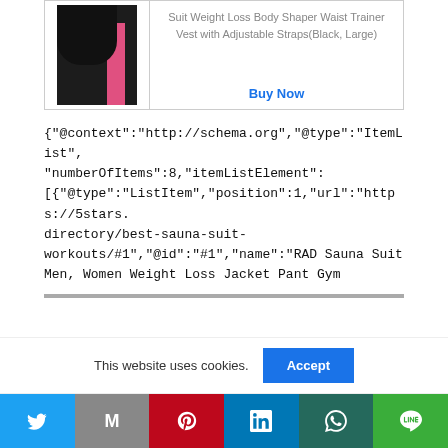[Figure (photo): Product image of a black sauna suit/shorts with pink stripe worn by a model, shown from waist down]
Suit Weight Loss Body Shaper Waist Trainer Vest with Adjustable Straps(Black, Large)
Buy Now
{"@context":"http://schema.org","@type":"ItemList","numberOfItems":8,"itemListElement":[{"@type":"ListItem","position":1,"url":"https://5stars.directory/best-sauna-suit-workouts/#1","@id":"#1","name":"RAD Sauna Suit Men, Women Weight Loss Jacket Pant Gym
This website uses cookies.
Accept